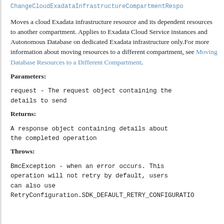ChangeCloudExadataInfrastructureCompartmentRespo...
Moves a cloud Exadata infrastructure resource and its dependent resources to another compartment. Applies to Exadata Cloud Service instances and Autonomous Database on dedicated Exadata infrastructure only.For more information about moving resources to a different compartment, see Moving Database Resources to a Different Compartment.
Parameters:
request - The request object containing the details to send
Returns:
A response object containing details about the completed operation
Throws:
BmcException - when an error occurs. This operation will not retry by default, users can also use RetryConfiguration.SDK_DEFAULT_RETRY_CONFIGURATIO...